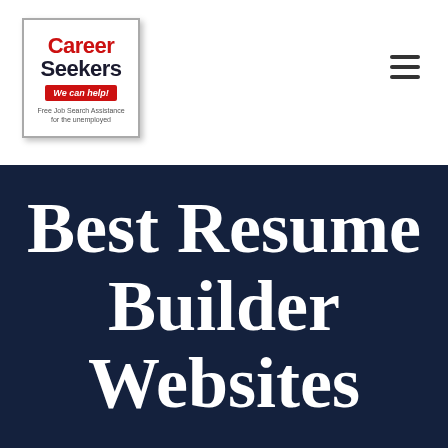[Figure (logo): Career Seekers logo with red text 'Career', dark text 'Seekers', red banner 'We can help!', and tagline 'Free Job Search Assistance for the unemployed']
Best Resume Builder Websites